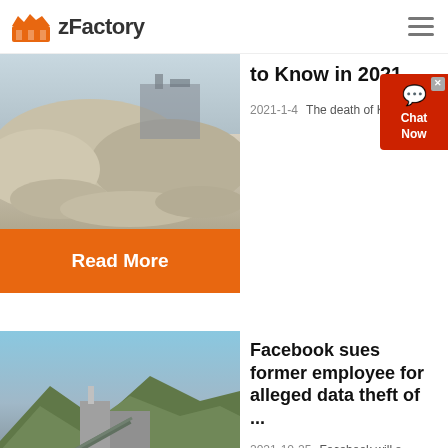zFactory
[Figure (photo): Pile of crushed gravel/aggregate at a quarry or mining site with machinery in background]
to Know in 2021 -
2021-1-4   The death of Kobe
Read More
[Figure (photo): Industrial factory/crushing plant with conveyors and mountains in background]
Facebook sues former employee for alleged data theft of ...
2021-10-25   Facebook will sue f...